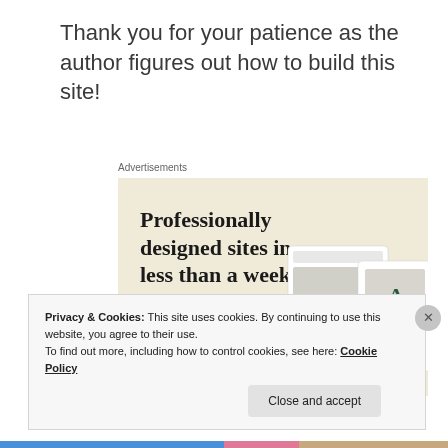Thank you for your patience as the author figures out how to build this site!
Advertisements
[Figure (screenshot): Advertisement banner with beige background showing 'Professionally designed sites in less than a week' with an 'Explore options' green button and a screenshot of a website layout]
Privacy & Cookies: This site uses cookies. By continuing to use this website, you agree to their use.
To find out more, including how to control cookies, see here: Cookie Policy
Close and accept